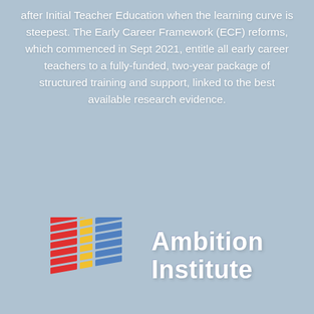after Initial Teacher Education when the learning curve is steepest. The Early Career Framework (ECF) reforms, which commenced in Sept 2021, entitle all early career teachers to a fully-funded, two-year package of structured training and support, linked to the best available research evidence.
[Figure (logo): Ambition Institute logo: coloured diagonal stripes (red, yellow, blue) on the left, and the text 'Ambition Institute' in white bold on the right]